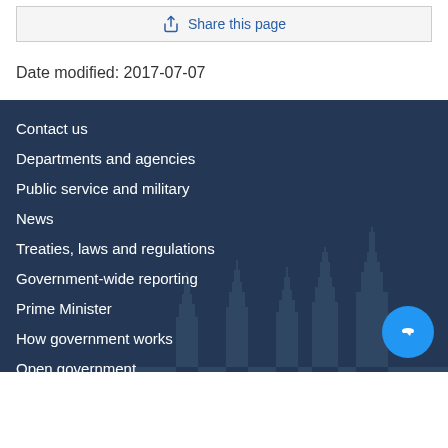Share this page
Date modified: 2017-07-07
Contact us
Departments and agencies
Public service and military
News
Treaties, laws and regulations
Government-wide reporting
Prime Minister
How government works
Open government